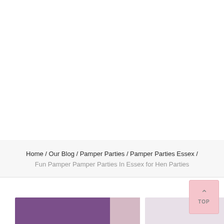[Figure (photo): White empty space at the top of the page, likely where a hero image or navigation was cropped]
Home / Our Blog / Pamper Parties / Pamper Parties Essex /
Fun Pamper Pamper Parties In Essex for Hen Parties
[Figure (photo): Bottom strip showing a partial photo of a person wearing purple clothing, with a light background on the right side. A pink 'TOP' back-to-top button is visible in the bottom-right area.]